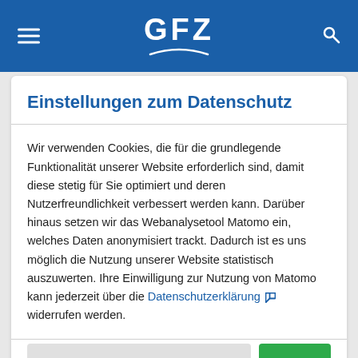GFZ
Einstellungen zum Datenschutz
Wir verwenden Cookies, die für die grundlegende Funktionalität unserer Website erforderlich sind, damit diese stetig für Sie optimiert und deren Nutzerfreundlichkeit verbessert werden kann. Darüber hinaus setzen wir das Webanalysetool Matomo ein, welches Daten anonymisiert trackt. Dadurch ist es uns möglich die Nutzung unserer Website statistisch auszuwerten. Ihre Einwilligung zur Nutzung von Matomo kann jederzeit über die Datenschutzerklärung widerrufen werden.